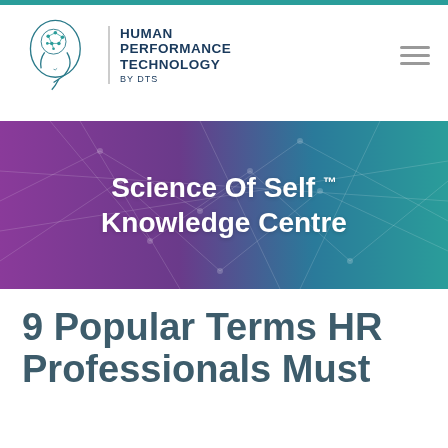[Figure (logo): Human Performance Technology by DTS logo — brain/face illustration with teal network design, text: HUMAN PERFORMANCE TECHNOLOGY BY DTS]
[Figure (illustration): Hero banner with purple-to-teal gradient background showing network/neuron pattern]
Science Of Self ™ Knowledge Centre
9 Popular Terms HR Professionals Must